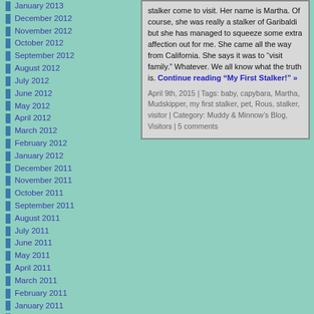January 2013
December 2012
November 2012
October 2012
September 2012
August 2012
July 2012
June 2012
May 2012
April 2012
March 2012
February 2012
January 2012
December 2011
November 2011
October 2011
September 2011
August 2011
July 2011
June 2011
May 2011
April 2011
March 2011
February 2011
January 2011
December 2010
November 2010
stalker come to visit. Her name is Martha. Of course, she was really a stalker of Garibaldi but she has managed to squeeze some extra affection out for me. She came all the way from California. She says it was to “visit family.” Whatever. We all know what the truth is. Continue reading “My First Stalker!” »
April 9th, 2015 | Tags: baby, capybara, Martha, Mudskipper, my first stalker, pet, Rous, stalker, visitor | Category: Muddy & Minnow's Blog, Visitors | 5 comments